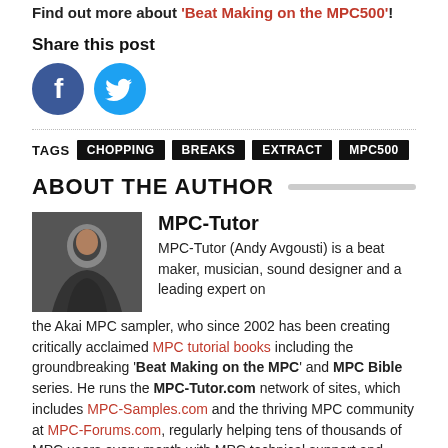Find out more about 'Beat Making on the MPC500'!
Share this post
[Figure (illustration): Facebook and Twitter social share icons (circular buttons)]
TAGS  CHOPPING  BREAKS  EXTRACT  MPC500
ABOUT THE AUTHOR
[Figure (photo): Author photo of MPC-Tutor (Andy Avgousti)]
MPC-Tutor
MPC-Tutor (Andy Avgousti) is a beat maker, musician, sound designer and a leading expert on the Akai MPC sampler, who since 2002 has been creating critically acclaimed MPC tutorial books including the groundbreaking 'Beat Making on the MPC' and MPC Bible series. He runs the MPC-Tutor.com network of sites, which includes MPC-Samples.com and the thriving MPC community at MPC-Forums.com, regularly helping tens of thousands of MPC users every month with MPC technical support and